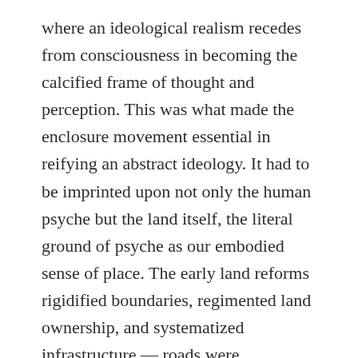where an ideological realism recedes from consciousness in becoming the calcified frame of thought and perception. This was what made the enclosure movement essential in reifying an abstract ideology. It had to be imprinted upon not only the human psyche but the land itself, the literal ground of psyche as our embodied sense of place. The early land reforms rigidified boundaries, regimented land ownership, and systematized infrastructure — roads were straightened and waterways channelized. As the echoes of the living